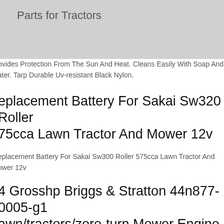Parts for Tractors
ovides Protection From The Sun And Heat. Cleans Easily With Soap And ater. Tarp Durable Uv-resistant Black Nylon.
eplacement Battery For Sakai Sw320 Roller 75cca Lawn Tractor And Mower 12v
eplacement Battery For Sakai Sw300 Roller 575cca Lawn Tractor And ower 12v
4 Grosshp Briggs & Stratton 44n877-0005-g1 awn/tractors/zero-turn Mower Engine
is Briggs & Stratton 44n877-0005-g1 724cc 24 Gross Hp Engine Is Grea or Lawngarden Tractors & Zero-turn Mowers. Briggs And Stratton Vertical haft Engine. 24 Gross Hp. Cast Iron Sleeve. Crankshaft Drilledtapped 716 Crankshaft, Ready For Bolt.